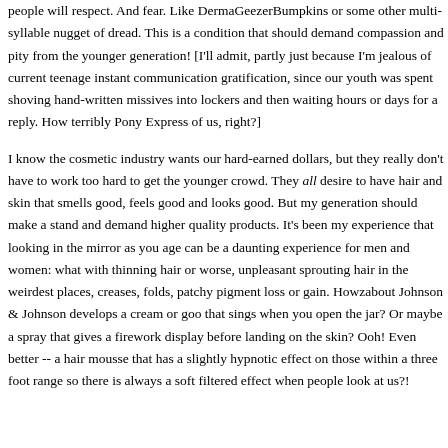people will respect. And fear. Like DermaGeezerBumpkins or some other multi-syllable nugget of dread. This is a condition that should demand compassion and pity from the younger generation! [I'll admit, partly just because I'm jealous of current teenage instant communication gratification, since our youth was spent shoving hand-written missives into lockers and then waiting hours or days for a reply. How terribly Pony Express of us, right?]
I know the cosmetic industry wants our hard-earned dollars, but they really don't have to work too hard to get the younger crowd. They all desire to have hair and skin that smells good, feels good and looks good. But my generation should make a stand and demand higher quality products. It's been my experience that looking in the mirror as you age can be a daunting experience for men and women: what with thinning hair or worse, unpleasant sprouting hair in the weirdest places, creases, folds, patchy pigment loss or gain. Howzabout Johnson & Johnson develops a cream or goo that sings when you open the jar? Or maybe a spray that gives a firework display before landing on the skin? Ooh! Even better -- a hair mousse that has a slightly hypnotic effect on those within a three foot range so there is always a soft filtered effect when people look at us?!